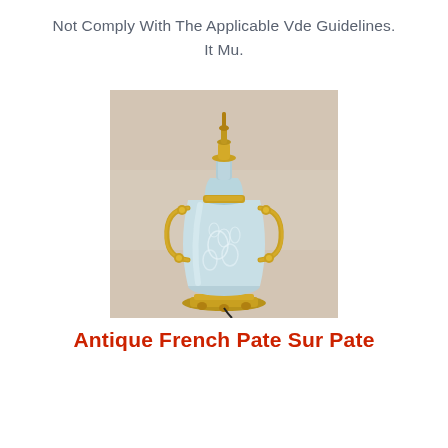Not Comply With The Applicable Vde Guidelines.
It Mu.
[Figure (photo): Antique French Pate Sur Pate lamp with a light blue ceramic urn body featuring white floral relief decoration, mounted with ornate golden brass hardware including handles and base, photographed against a beige fabric background.]
Antique French Pate Sur Pate